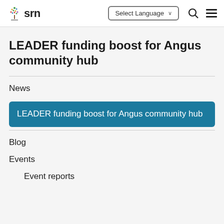srn | Select Language | Search | Menu
LEADER funding boost for Angus community hub
News
LEADER funding boost for Angus community hub
Blog
Events
Event reports